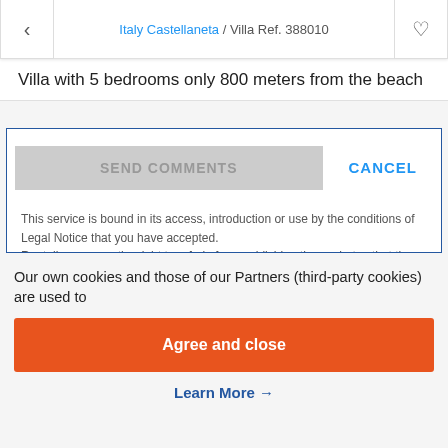Italy Castellaneta / Villa Ref. 388010
Villa with 5 bedrooms only 800 meters from the beach
SEND COMMENTS   CANCEL
This service is bound in its access, introduction or use by the conditions of Legal Notice that you have accepted. Rentalia reserves the right to refrain from publishing those photos that they consider do not comply with the previous requirements. Rentalia takes no responsibility for the pictures or details presented by the users of the Website which are published under their exclusive responsibility.
Our own cookies and those of our Partners (third-party cookies) are used to
Agree and close
Learn More →